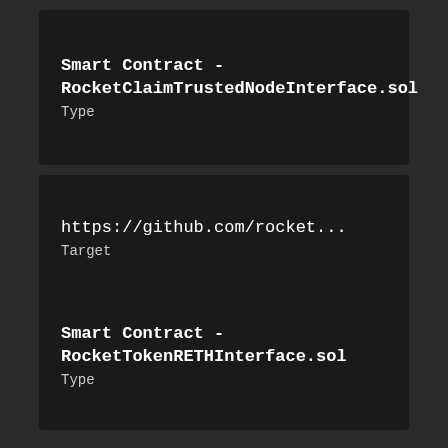Smart Contract - RocketClaimTrustedNodeInterface.sol
Type
https://github.com/rocket...
Target
Smart Contract - RocketTokenRETHInterface.sol
Type